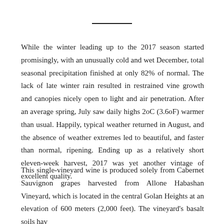While the winter leading up to the 2017 season started promisingly, with an unusually cold and wet December, total seasonal precipitation finished at only 82% of normal. The lack of late winter rain resulted in restrained vine growth and canopies nicely open to light and air penetration. After an average spring, July saw daily highs 2oC (3.6oF) warmer than usual. Happily, typical weather returned in August, and the absence of weather extremes led to beautiful, and faster than normal, ripening. Ending up as a relatively short eleven-week harvest, 2017 was yet another vintage of excellent quality.
This single-vineyard wine is produced solely from Cabernet Sauvignon grapes harvested from Allone Habashan Vineyard, which is located in the central Golan Heights at an elevation of 600 meters (2,000 feet). The vineyard's basalt soils hav…